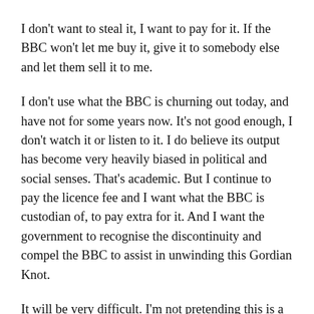I don't want to steal it, I want to pay for it. If the BBC won't let me buy it, give it to somebody else and let them sell it to me.
I don't use what the BBC is churning out today, and have not for some years now. It's not good enough, I don't watch it or listen to it. I do believe its output has become very heavily biased in political and social senses. That's academic. But I continue to pay the licence fee and I want what the BBC is custodian of, to pay extra for it. And I want the government to recognise the discontinuity and compel the BBC to assist in unwinding this Gordian Knot.
It will be very difficult. I'm not pretending this is a simple proposal by any means. But as I've already established, 'difficult' is not 'insurmountable'. It will depend on the